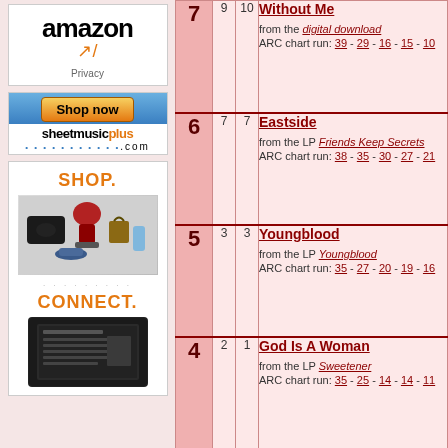[Figure (logo): Amazon logo with arrow and Privacy text]
[Figure (photo): SheetMusicPlus advertisement with Shop Now button]
[Figure (infographic): Shop and Connect advertisement with product images and Kindle]
| Rank | Prev | Peak | Song Info |
| --- | --- | --- | --- |
| 7 | 9 | 10 | Without Me | from the digital download | ARC chart run: 39 - 29 - 16 - 15 - 10 |
| 6 | 7 | 7 | Eastside | from the LP Friends Keep Secrets | ARC chart run: 38 - 35 - 30 - 27 - 21 |
| 5 | 3 | 3 | Youngblood | from the LP Youngblood | ARC chart run: 35 - 27 - 20 - 19 - 16 |
| 4 | 2 | 1 | God Is A Woman | from the LP Sweetener | ARC chart run: 35 - 25 - 14 - 14 - 11 |